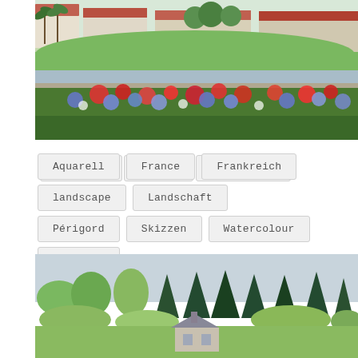[Figure (illustration): Watercolour painting of a French village/Périgord landscape with buildings featuring terracotta roofs, palm trees, green hillside, a river or moat with stone walls, and a foreground of colourful flowers — red poppies and blue flowers — with lush green foliage.]
Aquarell
France
Frankreich
landscape
Landschaft
Périgord
Skizzen
Watercolour
Zeichnen
[Figure (illustration): Watercolour painting of a countryside landscape with tall dark green conifers and lighter green deciduous trees, a pale blue-grey sky, and a small cottage or house visible among the trees at the bottom.]